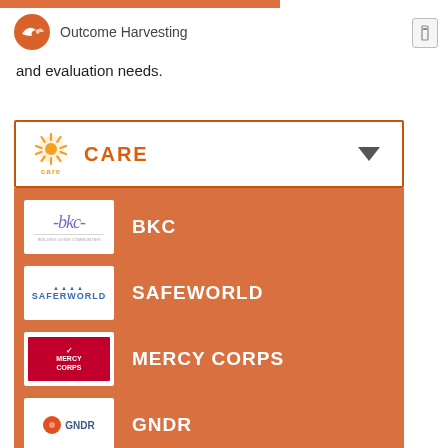Outcome Harvesting
and evaluation needs.
CARE
BKC
SAFEWORLD
MERCY CORPS
GNDR